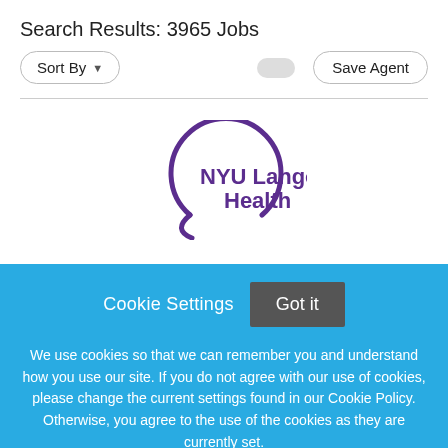Search Results: 3965 Jobs
[Figure (logo): NYU Langone Health logo — purple circular arc with NYU Langone Health text in purple]
Cookie Settings
Got it
We use cookies so that we can remember you and understand how you use our site. If you do not agree with our use of cookies, please change the current settings found in our Cookie Policy. Otherwise, you agree to the use of the cookies as they are currently set.